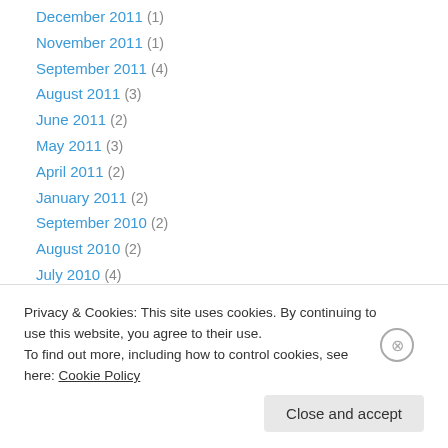December 2011 (1)
November 2011 (1)
September 2011 (4)
August 2011 (3)
June 2011 (2)
May 2011 (3)
April 2011 (2)
January 2011 (2)
September 2010 (2)
August 2010 (2)
July 2010 (4)
May 2010 (1)
March 2010 (2)
Privacy & Cookies: This site uses cookies. By continuing to use this website, you agree to their use. To find out more, including how to control cookies, see here: Cookie Policy